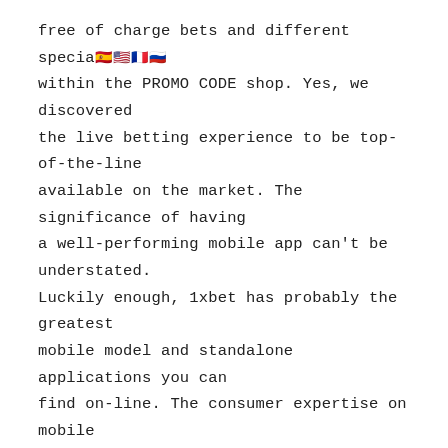free of charge bets and different special [flags] within the PROMO CODE shop. Yes, we discovered the live betting experience to be top-of-the-line available on the market. The significance of having a well-performing mobile app can't be understated. Luckily enough, 1xbet has probably the greatest mobile model and standalone applications you can find on-line. The consumer expertise on mobile even trumps their desktop web site, learn below what to expect from 1xbet's cellular version and native mobile applications.
Please proceed to the App retailer to start 1xbet app free download and installation. After completing this process, you're all set for the 1xbet